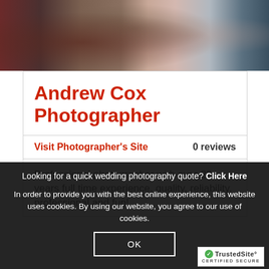[Figure (photo): Cropped photo strip showing people outdoors with autumn colors, blurred background]
Andrew Cox Photographer
Visit Photographer's Site   0 reviews
Professional photographer with over 28 years full time experience, quality, reliability, professional and fun!
Looking for a quick wedding photography quote? Click Here
In order to provide you with the best online experience, this website uses cookies. By using our website, you agree to our use of cookies.
OK
[Figure (logo): TrustedSite Certified Secure badge]